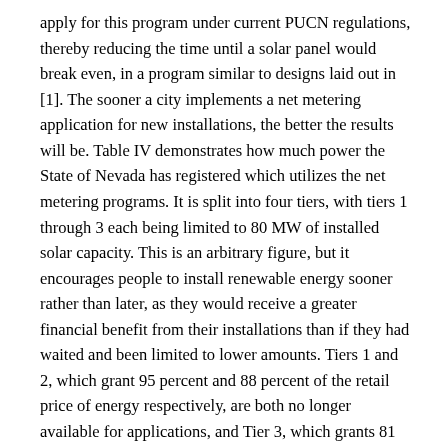apply for this program under current PUCN regulations, thereby reducing the time until a solar panel would break even, in a program similar to designs laid out in [1]. The sooner a city implements a net metering application for new installations, the better the results will be. Table IV demonstrates how much power the State of Nevada has registered which utilizes the net metering programs. It is split into four tiers, with tiers 1 through 3 each being limited to 80 MW of installed solar capacity. This is an arbitrary figure, but it encourages people to install renewable energy sooner rather than later, as they would receive a greater financial benefit from their installations than if they had waited and been limited to lower amounts. Tiers 1 and 2, which grant 95 percent and 88 percent of the retail price of energy respectively, are both no longer available for applications, and Tier 3, which grants 81 percent of energy, is already 90 percent full, assuming all pending net metering applications are accepted. These figures accurately display that the total net metering capacity is closing fast. Therefore, the CoR should state their intentions to invest further in solar energy sooner rather than later so they can reap greater rewards